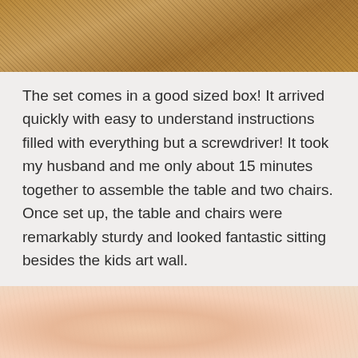[Figure (photo): Close-up photo of a textured sandy/carpeted surface in warm brown and tan tones, cropped at the top of the page.]
The set comes in a good sized box! It arrived quickly with easy to understand instructions filled with everything but a screwdriver! It took my husband and me only about 15 minutes together to assemble the table and two chairs. Once set up, the table and chairs were remarkably sturdy and looked fantastic sitting besides the kids art wall.
[Figure (photo): Close-up photo of a light peach/cream colored surface, partially visible at the bottom of the page.]